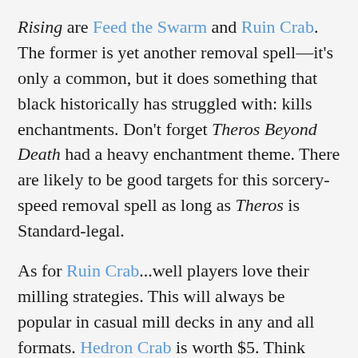Rising are Feed the Swarm and Ruin Crab. The former is yet another removal spell—it's only a common, but it does something that black historically has struggled with: kills enchantments. Don't forget Theros Beyond Death had a heavy enchantment theme. There are likely to be good targets for this sorcery-speed removal spell as long as Theros is Standard-legal.
As for Ruin Crab...well players love their milling strategies. This will always be popular in casual mill decks in any and all formats. Hedron Crab is worth $5. Think about that. Granted it was printed only in original Zendikar and the Mystery Booster set. Still, as long as it dodges reprint, Ruin Crab has got to be one of the safest penny stock plays. It should also get a boost from Standard play. I can see this uncommon buylisting for a buck or two this time